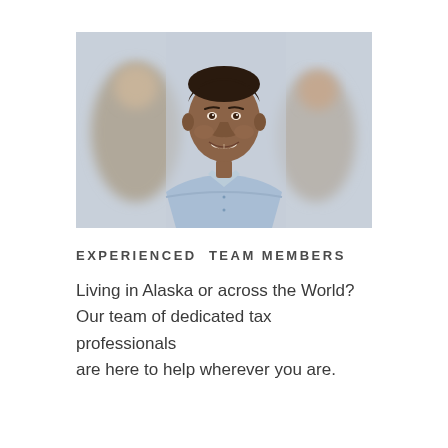[Figure (photo): A smiling young Black man wearing a light blue button-up shirt, photographed from the waist up against a blurred background showing other people out of focus.]
EXPERIENCED TEAM MEMBERS
Living in Alaska or across the World? Our team of dedicated tax professionals are here to help wherever you are.